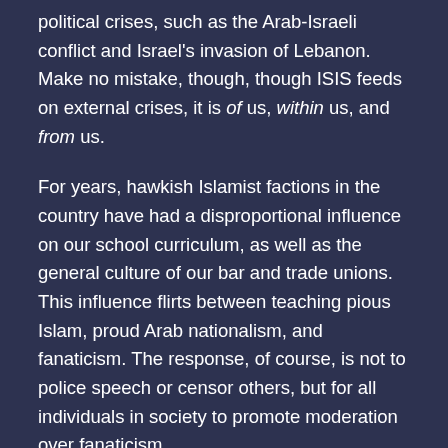political crises, such as the Arab-Israeli conflict and Israel's invasion of Lebanon. Make no mistake, though, though ISIS feeds on external crises, it is of us, within us, and from us.
For years, hawkish Islamist factions in the country have had a disproportional influence on our school curriculum, as well as the general culture of our bar and trade unions. This influence flirts between teaching pious Islam, proud Arab nationalism, and fanaticism. The response, of course, is not to police speech or censor others, but for all individuals in society to promote moderation over fanaticism.
A Message of Peace Amid War
Let us not adopt a 'with us or against us' mantra in the